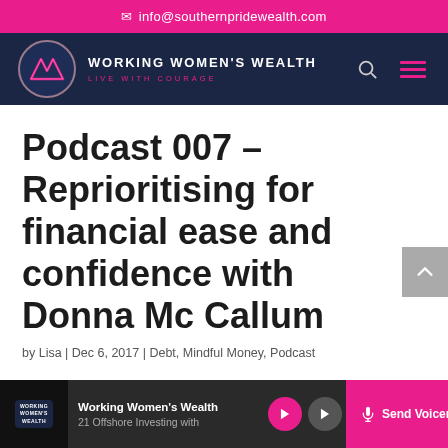✉ info@southernpridewealth.com
[Figure (logo): Working Women's Wealth logo with W emblem, tagline LIVE WITH COURAGE, navy background, with search and hamburger menu icons]
Podcast 007 – Reprioritising for financial ease and confidence with Donna Mc Callum
by Lisa | Dec 6, 2017 | Debt, Mindful Money, Podcast
[Figure (screenshot): Bottom player bar showing Working Women's Wealth podcast player with episode '21 Offshore Investing with...' and Send Voicemail button]